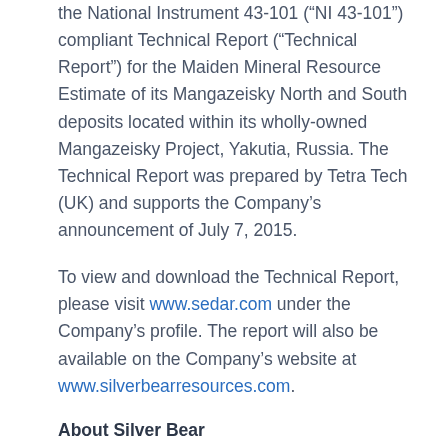the National Instrument 43-101 ("NI 43-101") compliant Technical Report ("Technical Report") for the Maiden Mineral Resource Estimate of its Mangazeisky North and South deposits located within its wholly-owned Mangazeisky Project, Yakutia, Russia. The Technical Report was prepared by Tetra Tech (UK) and supports the Company's announcement of July 7, 2015.
To view and download the Technical Report, please visit www.sedar.com under the Company's profile. The report will also be available on the Company's website at www.silverbearresources.com.
About Silver Bear
Silver Bear (TSX:SBR) is focused on the development of its wholly-owned Mangazeisky Silver Project, covering a licence area of ~570 sq. km that includes the high grade Vertikalny deposit (amongst the highest grade silver